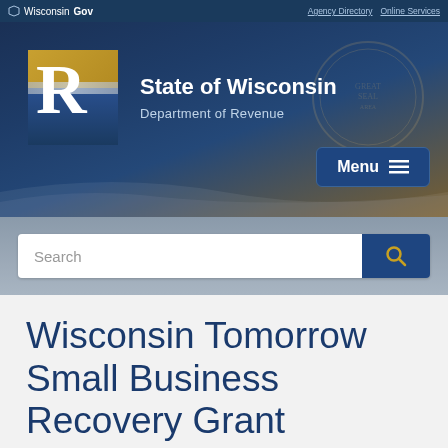Wisconsin.Gov | Agency Directory | Online Services
[Figure (logo): State of Wisconsin Department of Revenue logo with large R lettermark on gold and blue background]
State of Wisconsin
Department of Revenue
Menu
Search
Wisconsin Tomorrow Small Business Recovery Grant